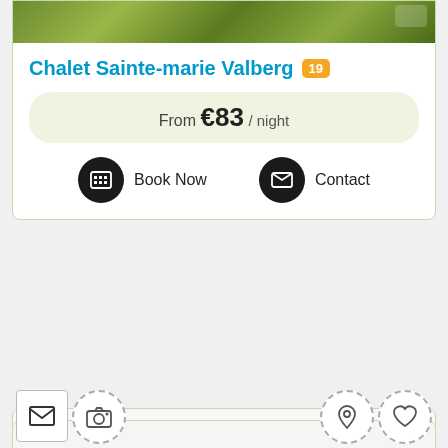[Figure (photo): Top photo strip showing green garden/outdoor scene]
Chalet Sainte-marie Valberg 19
From €83 / night
Book Now
Contact
[Figure (illustration): Icon row with envelope, camera, map pin, heart icons in dashed circles]
La Gardiola 19.8Km